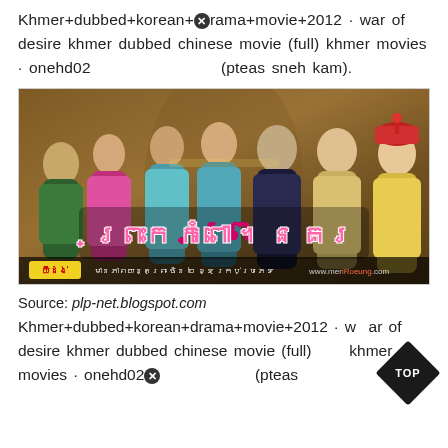Khmer+dubbed+korean+drama+movie+2012 · war of desire khmer dubbed chinese movie (full) khmer movies · onehd02  (pteas sneh kam).
[Figure (photo): Movie poster for a Khmer-dubbed Chinese period drama, showing cast members in imperial Chinese costumes with Khmer script title and website www.meriRoeung.com]
Source: plp-net.blogspot.com
Khmer+dubbed+korean+drama+movie+2012 · war of desire khmer dubbed chinese movie (full) khmer movies · onehd02  (pteas